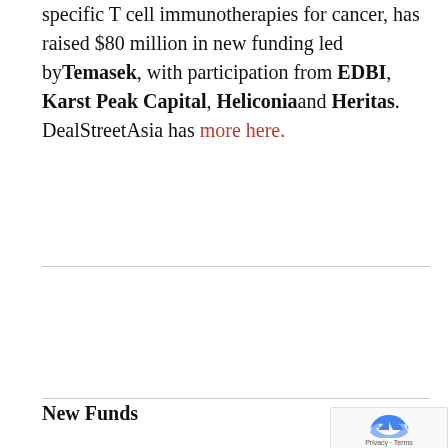specific T cell immunotherapies for cancer, has raised $80 million in new funding led by Temasek, with participation from EDBI, Karst Peak Capital, Heliconia and Heritas. DealStreetAsia has more here.
New Funds